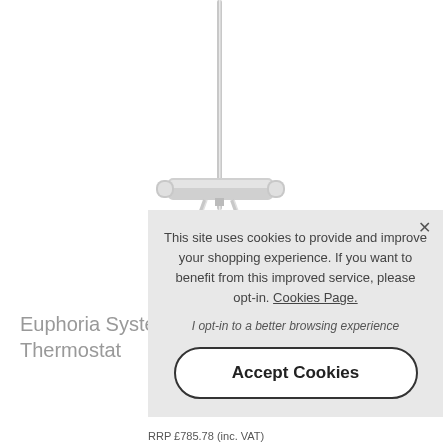[Figure (photo): Product photo of a chrome shower system with thermostatic bar mixer and riser rail, shown on white background]
Euphoria System Thermostat
RRP £785.78 (inc. VAT)
This site uses cookies to provide and improve your shopping experience. If you want to benefit from this improved service, please opt-in. Cookies Page.
I opt-in to a better browsing experience
Accept Cookies